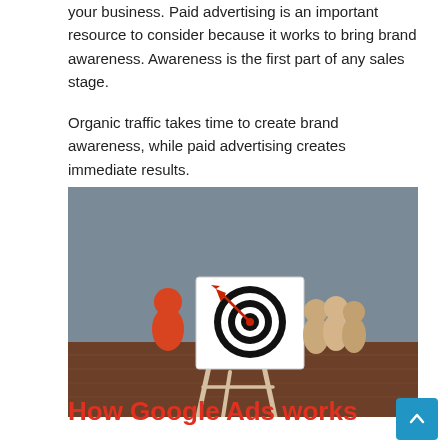your business. Paid advertising is an important resource to consider because it works to bring brand awareness. Awareness is the first part of any sales stage.

Organic traffic takes time to create brand awareness, while paid advertising creates immediate results.
[Figure (photo): Photo of wooden figurines around a target/bullseye on an easel on a wooden table with grey background, representing marketing targeting concepts. One red figure on the left, three tan/wooden figures on the right, and a target board in the center.]
How Google Ads works